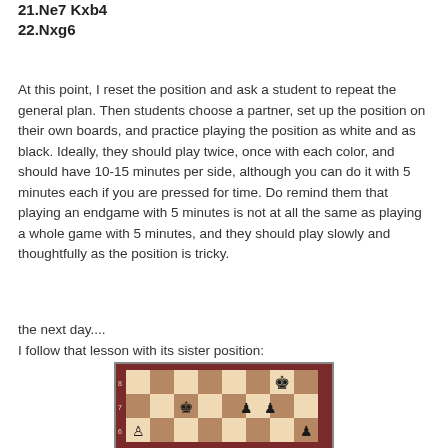21.Ne7 Kxb4
22.Nxg6
At this point, I reset the position and ask a student to repeat the general plan. Then students choose a partner, set up the position on their own boards, and practice playing the position as white and as black. Ideally, they should play twice, once with each color, and should have 10-15 minutes per side, although you can do it with 5 minutes each if you are pressed for time. Do remind them that playing an endgame with 5 minutes is not at all the same as playing a whole game with 5 minutes, and they should play slowly and thoughtfully as the position is tricky.
the next day....
I follow that lesson with its sister position:
[Figure (illustration): Chess board showing an endgame position with black king on g8, black pieces on f7 area, white and black pawns, viewed from above. Dark wood border around the board. Pieces visible: black king top-right, black king-like piece middle, black pawns, white pawn bottom-left and bottom-right.]